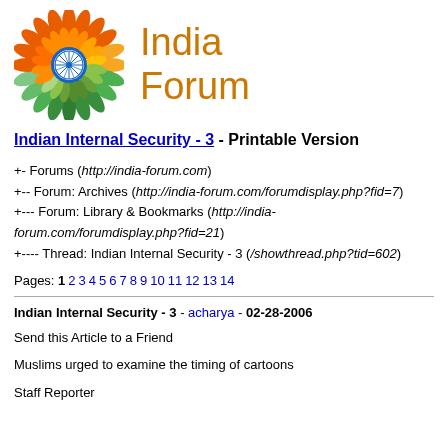[Figure (logo): India Forum logo: a circular flower with orange and green petals surrounding a blue Ashoka chakra wheel, with text 'India Forum' in orange to the right]
Indian Internal Security - 3 - Printable Version
+- Forums (http://india-forum.com)
+-- Forum: Archives (http://india-forum.com/forumdisplay.php?fid=7)
+--- Forum: Library & Bookmarks (http://india-forum.com/forumdisplay.php?fid=21)
+---- Thread: Indian Internal Security - 3 (/showthread.php?tid=602)
Pages: 1 2 3 4 5 6 7 8 9 10 11 12 13 14
Indian Internal Security - 3 - acharya - 02-28-2006
Send this Article to a Friend
Muslims urged to examine the timing of cartoons
Staff Reporter